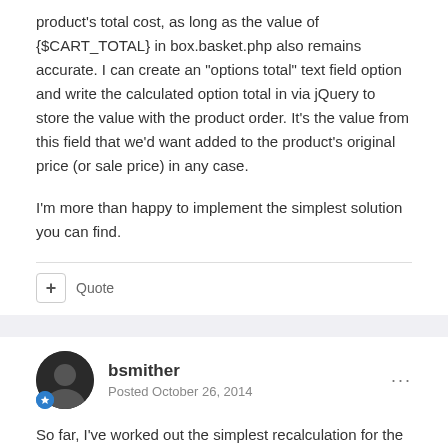product's total cost, as long as the value of {$CART_TOTAL} in box.basket.php also remains accurate. I can create an "options total" text field option and write the calculated option total in via jQuery to store the value with the product order. It's the value from this field that we'd want added to the product's original price (or sale price) in any case.
I'm more than happy to implement the simplest solution you can find.
Quote
bsmither
Posted October 26, 2014
So far, I've worked out the simplest recalculation for the Shopping Basket sidebox. That means, if taxes are complicated, or there is